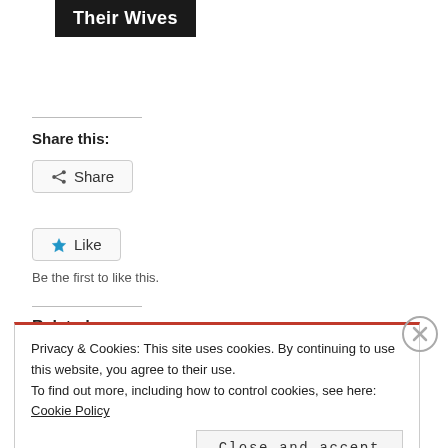Their Wives
Share this:
[Figure (other): Share button with share icon]
[Figure (other): Like button with blue star icon]
Be the first to like this.
Related
Privacy & Cookies: This site uses cookies. By continuing to use this website, you agree to their use.
To find out more, including how to control cookies, see here: Cookie Policy
[Figure (other): Close and accept button for cookie banner]